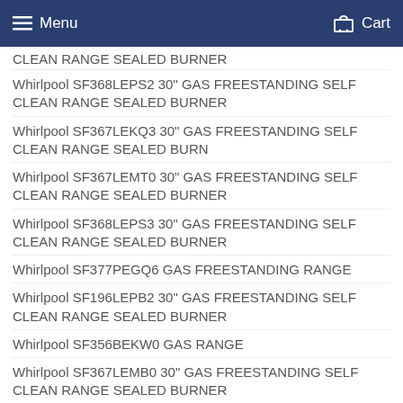Menu  Cart
CLEAN RANGE SEALED BURNER
Whirlpool SF368LEPS2 30" GAS FREESTANDING SELF CLEAN RANGE SEALED BURNER
Whirlpool SF367LEKQ3 30" GAS FREESTANDING SELF CLEAN RANGE SEALED BURN
Whirlpool SF367LEMT0 30" GAS FREESTANDING SELF CLEAN RANGE SEALED BURNER
Whirlpool SF368LEPS3 30" GAS FREESTANDING SELF CLEAN RANGE SEALED BURNER
Whirlpool SF377PEGQ6 GAS FREESTANDING RANGE
Whirlpool SF196LEPB2 30" GAS FREESTANDING SELF CLEAN RANGE SEALED BURNER
Whirlpool SF356BEKW0 GAS RANGE
Whirlpool SF367LEMB0 30" GAS FREESTANDING SELF CLEAN RANGE SEALED BURNER
Whirlpool SF367LEMW1 30" GAS FREESTANDING SELF CLEAN RANGE SEALED BURNER